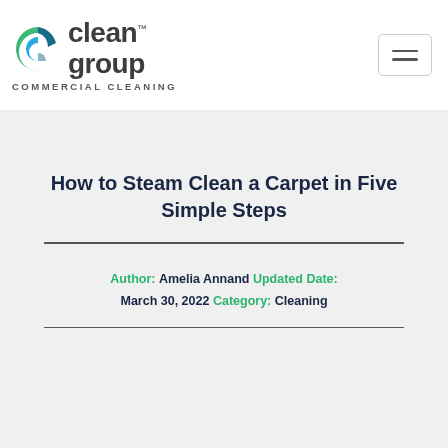[Figure (logo): Clean Group commercial cleaning logo with green and teal swirl icon, bold dark text 'clean group' and 'COMMERCIAL CLEANING' subtitle]
How to Steam Clean a Carpet in Five Simple Steps
Author: Amelia Annand   Updated Date: March 30, 2022   Category: Cleaning